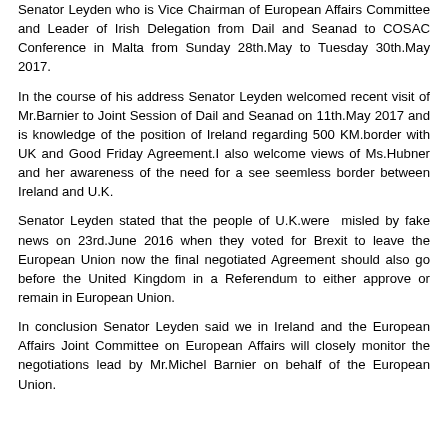Senator Leyden who is Vice Chairman of European Affairs Committee and Leader of Irish Delegation from Dail and Seanad to COSAC Conference in Malta from Sunday 28th.May to Tuesday 30th.May 2017.
In the course of his address Senator Leyden welcomed recent visit of Mr.Barnier to Joint Session of Dail and Seanad on 11th.May 2017 and is knowledge of the position of Ireland regarding 500 KM.border with UK and Good Friday Agreement.I also welcome views of Ms.Hubner and her awareness of the need for a see seemless border between Ireland and U.K.
Senator Leyden stated that the people of U.K.were  misled by fake news on 23rd.June 2016 when they voted for Brexit to leave the European Union now the final negotiated Agreement should also go before the United Kingdom in a Referendum to either approve or remain in European Union.
In conclusion Senator Leyden said we in Ireland and the European Affairs Joint Committee on European Affairs will closely monitor the negotiations lead by Mr.Michel Barnier on behalf of the European Union.